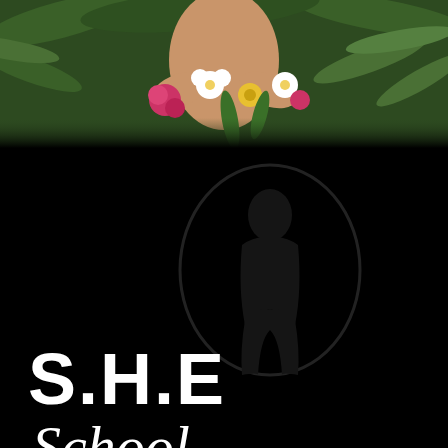[Figure (photo): Top portion shows a woman holding colorful flowers (pink roses, white daisies, yellow flowers) with green fern and tropical leaves in the background. Photo is cropped to show mid-section and hands.]
[Figure (logo): S.H.E School logo on black background: bold white 'S.H.E' text with italic script 'School' below, accompanied by a dark oval silhouette of a woman figure watermark in the center-right area.]
SHE SCHOOL PRESENTS
Beauty UnleaSHEd